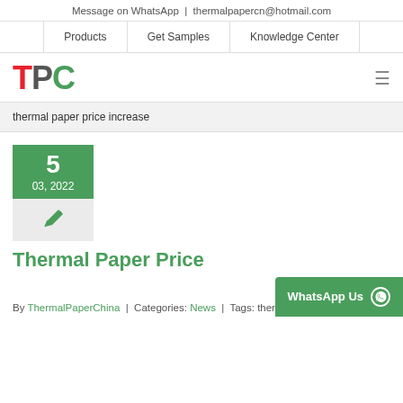Message on WhatsApp | thermalpapercn@hotmail.com
Products | Get Samples | Knowledge Center
[Figure (logo): TPC logo with T in red, P in gray, C in green]
thermal paper price increase
[Figure (infographic): Date card showing 5, 03, 2022 with green background, and a pen icon below on gray background]
Thermal Paper Price
By ThermalPaperChina | Categories: News | Tags: thermal paper price
[Figure (other): WhatsApp Us button with WhatsApp icon]